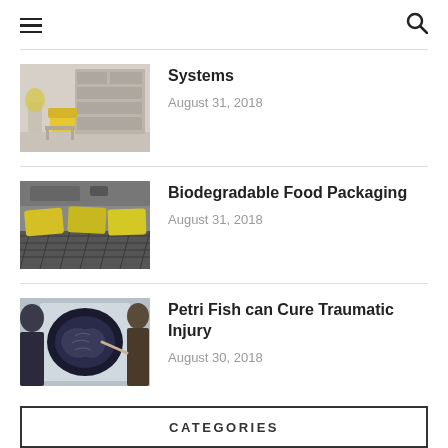☰  🔍
[Figure (photo): Interior room with bookshelf and yellow chair]
Systems
August 31, 2018
[Figure (photo): Yellow food packages on conveyor belt for biodegradable food packaging]
Biodegradable Food Packaging
August 31, 2018
[Figure (photo): Person examining brain MRI scan]
Petri Fish can Cure Traumatic Injury
August 30, 2018
CATEGORIES